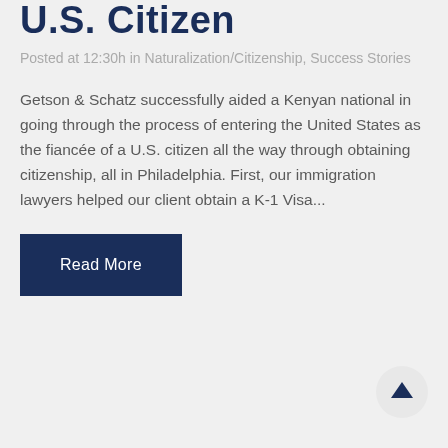U.S. Citizen
Posted at 12:30h in Naturalization/Citizenship, Success Stories
Getson & Schatz successfully aided a Kenyan national in going through the process of entering the United States as the fiancée of a U.S. citizen all the way through obtaining citizenship, all in Philadelphia. First, our immigration lawyers helped our client obtain a K-1 Visa...
Read More